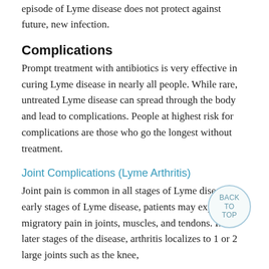episode of Lyme disease does not protect against future, new infection.
Complications
Prompt treatment with antibiotics is very effective in curing Lyme disease in nearly all people. While rare, untreated Lyme disease can spread through the body and lead to complications. People at highest risk for complications are those who go the longest without treatment.
Joint Complications (Lyme Arthritis)
Joint pain is common in all stages of Lyme disease. In early stages of Lyme disease, patients may experience migratory pain in joints, muscles, and tendons. In the later stages of the disease, arthritis localizes to 1 or 2 large joints such as the knee,